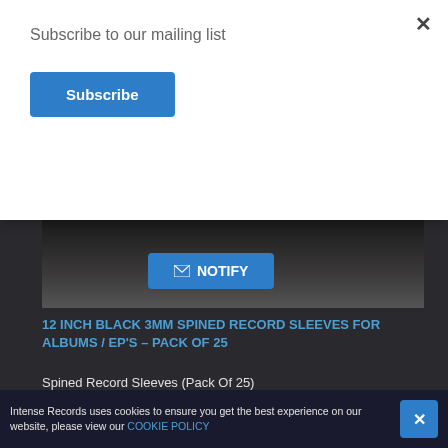Subscribe to our mailing list
Subscribe
[Figure (photo): Dark product image area with a blue NOTIFY button showing an envelope icon]
12 INCH BLACK 3MM SPINED RECORD SLEEVES FOR ALBUMS / EP'S - PACK OF 25
Spined Record Sleeves (Pack Of 25)
Vinyl Protect
SPINED25
£16.67 (£20.00 incl. VAT)
[Figure (photo): Light-colored product photo at the bottom, partially visible]
Intense Records uses cookies to ensure you get the best experience on our website, please view our COOKIE POLICY